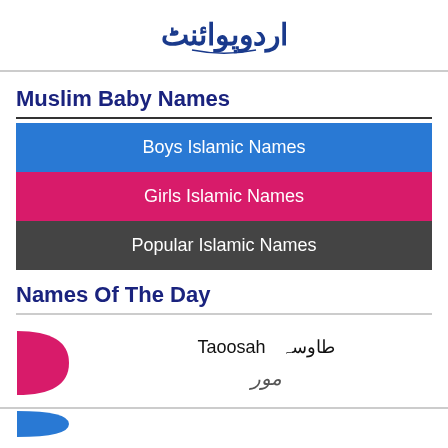اردوپوائنٹ (Urdu Point logo)
Muslim Baby Names
Boys Islamic Names
Girls Islamic Names
Popular Islamic Names
Names Of The Day
طاوسہ Taoosah
مور